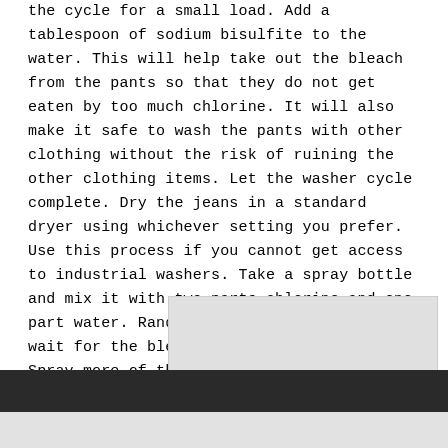the cycle for a small load. Add a tablespoon of sodium bisulfite to the water. This will help take out the bleach from the pants so that they do not get eaten by too much chlorine. It will also make it safe to wash the pants with other clothing without the risk of ruining the other clothing items. Let the washer cycle complete. Dry the jeans in a standard dryer using whichever setting you prefer. Use this process if you cannot get access to industrial washers. Take a spray bottle and mix it with two parts chlorine and one part water. Randomly spray the pants and wait for the bleached spots to appear. Spray more of the solution for a more bleached effect. Wash the pants with sodium bisulfite and then dry.
[Figure (other): Gray advertisement placeholder box]
[Figure (other): Dark footer bar]
[Figure (other): Light gray footer area]